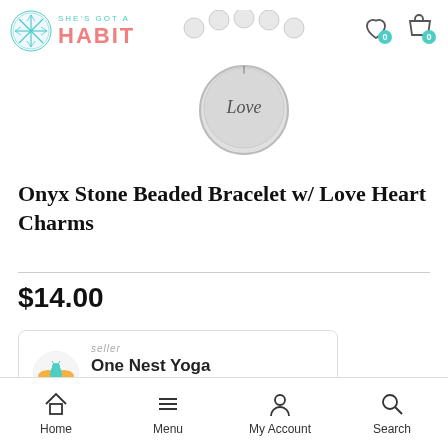[Figure (logo): She's Got A Habit logo with snowflake icon and pink text]
[Figure (photo): Onyx stone beaded bracelet with Love Heart Charms product image]
Onyx Stone Beaded Bracelet w/ Love Heart Charms
$14.00
seller
One Nest Yoga
★★★★★
Home  Menu  My Account  Search